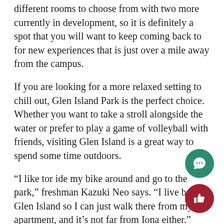different rooms to choose from with two more currently in development, so it is definitely a spot that you will want to keep coming back to for new experiences that is just over a mile away from the campus.
If you are looking for a more relaxed setting to chill out, Glen Island Park is the perfect choice. Whether you want to take a stroll alongside the water or prefer to play a game of volleyball with friends, visiting Glen Island is a great way to spend some time outdoors.
“I like tor ide my bike around and go to the park,” freshman Kazuki Neo says. “I live by Glen Island so I can just walk there from my apartment, and it’s not far from Iona either.”
Whether you are scheduling a get together with friends or looking for a way to spend a free weekend, New Rochelle has plenty of great places to visit.